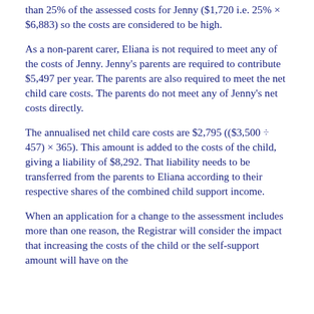than 25% of the assessed costs for Jenny ($1,720 i.e. 25% × $6,883) so the costs are considered to be high.
As a non-parent carer, Eliana is not required to meet any of the costs of Jenny. Jenny's parents are required to contribute $5,497 per year. The parents are also required to meet the net child care costs. The parents do not meet any of Jenny's net costs directly.
The annualised net child care costs are $2,795 (($3,500 ÷ 457) × 365). This amount is added to the costs of the child, giving a liability of $8,292. That liability needs to be transferred from the parents to Eliana according to their respective shares of the combined child support income.
When an application for a change to the assessment includes more than one reason, the Registrar will consider the impact that increasing the costs of the child or the self-support amount will have on the